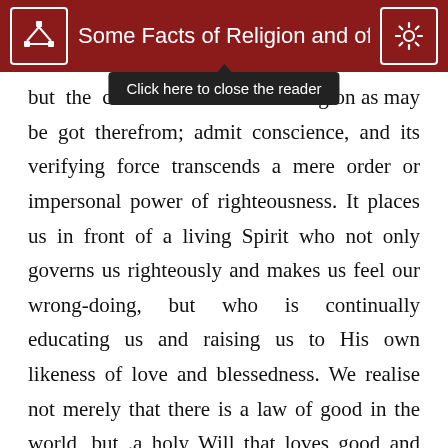Some Facts of Religion and of Li
[Figure (screenshot): Tooltip overlay saying 'Click here to close the reader']
but the co[nscien]ce and such religion as may be got therefrom; admit conscience, and its verifying force transcends a mere order or impersonal power of righteousness. It places us in front of a living Spirit who not only governs us righteously and makes us feel our wrong-doing, but who is continually educating us and raising us to His own likeness of love and blessedness. We realise not merely that there is a law of good in the world, but .a holy Will that loves good and hates evil, and against whom all our sins are offences in the sense of the Psalmist: “Against Thee, Thee only